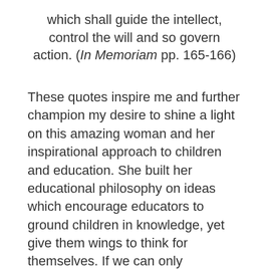which shall guide the intellect, control the will and so govern action. (In Memoriam pp. 165-166)
These quotes inspire me and further champion my desire to shine a light on this amazing woman and her inspirational approach to children and education. She built her educational philosophy on ideas which encourage educators to ground children in knowledge, yet give them wings to think for themselves. If we can only accomplish this